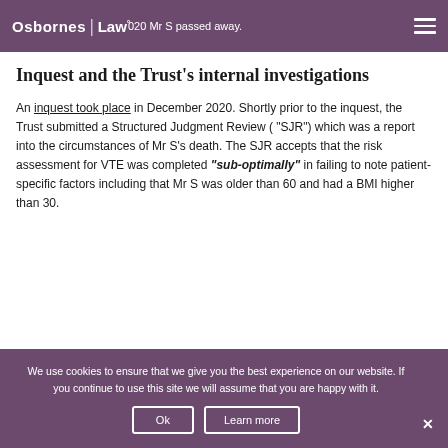Osbornes | Law° 020 Mr S passed away.
Inquest and the Trust’s internal investigations
An inquest took place in December 2020. Shortly prior to the inquest, the Trust submitted a Structured Judgment Review (“SJR”) which was a report into the circumstances of Mr S’s death. The SJR accepts that the risk assessment for VTE was completed “sub-optimally” in failing to note patient-specific factors including that Mr S was older than 60 and had a BMI higher than 30.
We use cookies to ensure that we give you the best experience on our website. If you continue to use this site we will assume that you are happy with it.